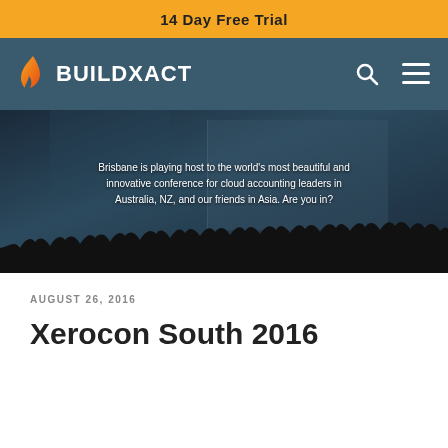14 Day Free Trial
[Figure (logo): Buildxact logo with flame icon on teal/dark blue navigation bar with search and menu icons]
[Figure (photo): Dark conference hall photo with crowd silhouette and overlaid text: Brisbane is playing host to the world's most beautiful and innovative conference for cloud accounting leaders in Australia, NZ, and our friends in Asia. Are you in?]
Brisbane is playing host to the world's most beautiful and innovative conference for cloud accounting leaders in Australia, NZ, and our friends in Asia. Are you in?
AUGUST 26, 2016
Xerocon South 2016